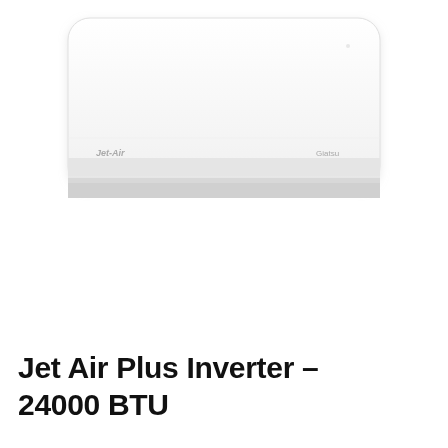[Figure (photo): Wall-mounted split air conditioning unit (indoor unit), white, with Jet-Air branding on the left and Giatsu branding on the right. The unit is elongated and horizontal with a bottom air outlet vent.]
[Figure (photo): Small thumbnail image of the same Jet Air Plus Inverter indoor unit, front view]
[Figure (photo): Small thumbnail image of the Jet Air Plus Inverter indoor unit, slightly angled view]
Jet Air Plus Inverter – 24000 BTU